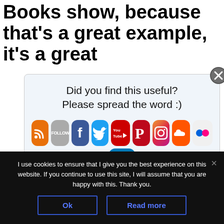Books show, because that's a great example, it's a great
[Figure (infographic): Social sharing popup with text 'Did you find this useful? Please spread the word :)' and social media icon buttons: RSS, Follow, Facebook, Twitter, YouTube, Pinterest, Instagram, SoundCloud, Flickr, LinkedIn. Close button (X) in top right corner.]
the
publishing, self-publishing, every week. And we
I use cookies to ensure that I give you the best experience on this website. If you continue to use this site, I will assume that you are happy with this. Thank you.